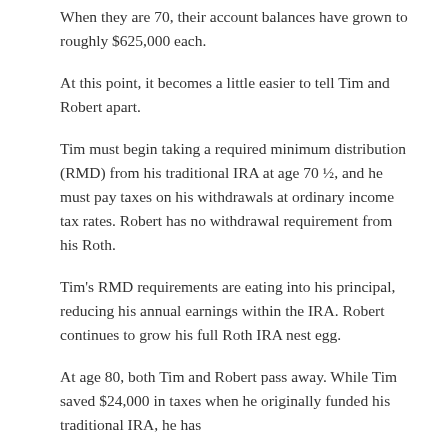When they are 70, their account balances have grown to roughly $625,000 each.
At this point, it becomes a little easier to tell Tim and Robert apart.
Tim must begin taking a required minimum distribution (RMD) from his traditional IRA at age 70 ½, and he must pay taxes on his withdrawals at ordinary income tax rates. Robert has no withdrawal requirement from his Roth.
Tim's RMD requirements are eating into his principal, reducing his annual earnings within the IRA. Robert continues to grow his full Roth IRA nest egg.
At age 80, both Tim and Robert pass away. While Tim saved $24,000 in taxes when he originally funded his traditional IRA, he has